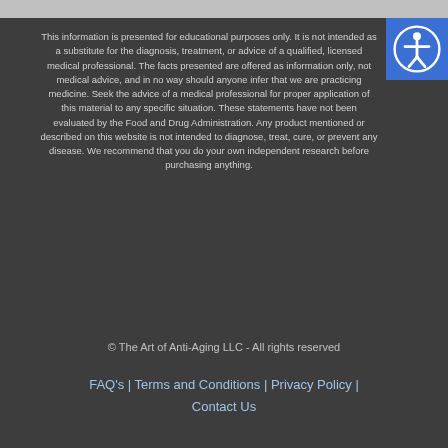This information is presented for educational purposes only. It is not intended as a substitute for the diagnosis, treatment, or advice of a qualified, licensed medical professional. The facts presented are offered as information only, not medical advice, and in no way should anyone infer that we are practicing medicine. Seek the advice of a medical professional for proper application of this material to any specific situation. These statements have not been evaluated by the Food and Drug Administration. Any product mentioned or described on this website is not intended to diagnose, treat, cure, or prevent any disease. We recommend that you do your own independent research before purchasing anything.
© The Art of Anti-Aging LLC - All rights reserved
FAQ's | Terms and Conditions | Privacy Policy | Contact Us